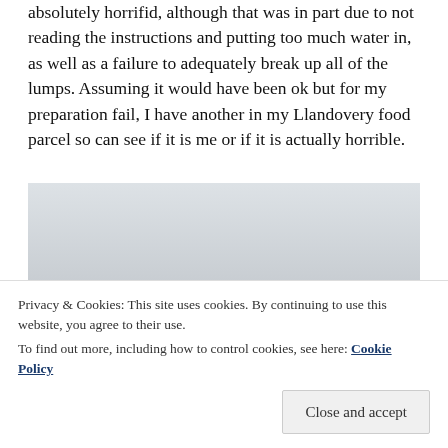absolutely horrifid, although that was in part due to not reading the instructions and putting too much water in, as well as a failure to adequately break up all of the lumps. Assuming it would have been ok but for my preparation fail, I have another in my Llandovery food parcel so can see if it is me or if it is actually horrible.
[Figure (photo): A photo showing a pale grey/white misty sky in the upper portion and green grass or ground in the lower portion, with an object partially visible at the bottom edge.]
Privacy & Cookies: This site uses cookies. By continuing to use this website, you agree to their use.
To find out more, including how to control cookies, see here: Cookie Policy